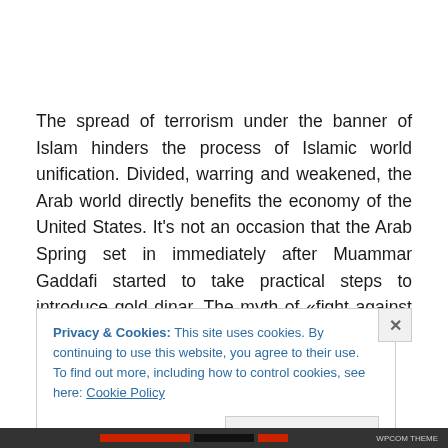The spread of terrorism under the banner of Islam hinders the process of Islamic world unification. Divided, warring and weakened, the Arab world directly benefits the economy of the United States. It’s not an occasion that the Arab Spring set in immediately after Muammar Gaddafi started to take practical steps to introduce gold dinar. The myth of «fight against terrorism» creates a pretext for
Privacy & Cookies: This site uses cookies. By continuing to use this website, you agree to their use.
To find out more, including how to control cookies, see here: Cookie Policy
Close and accept